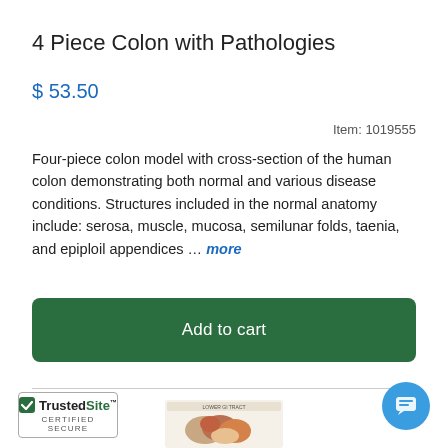4 Piece Colon with Pathologies
$ 53.50
Item: 1019555
Four-piece colon model with cross-section of the human colon demonstrating both normal and various disease conditions. Structures included in the normal anatomy include: serosa, muscle, mucosa, semilunar folds, taenia, and epiploil appendices … more
Add to cart
[Figure (photo): Product image of colon anatomy model labeled LOWER GI TRACT showing intestinal cross-sections in a card format]
[Figure (logo): TrustedSite Certified Secure badge with green checkmark]